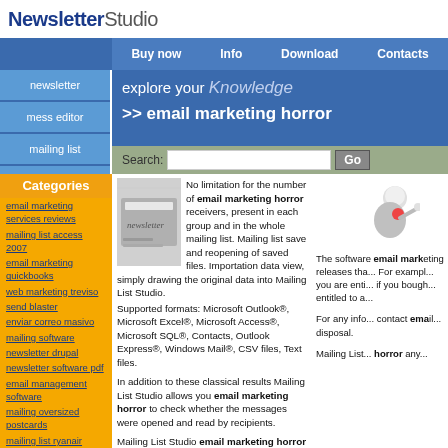NewsletterStudio
Buy now  Info  Download  Contacts
newsletter
mess editor
mailing list
dbase mailing
explore your Knowledge
>> email marketing horror
Categories
email marketing services reviews
mailing list access 2007
email marketing quickbooks
web marketing treviso
send blaster
enviar correo masivo
mailing software
newsletter drupal
newsletter software pdf
email management software
mailing oversized postcards
mailing list ryanair
No limitation for the number of email marketing horror receivers, present in each group and in the whole mailing list. Mailing list save and reopening of saved files. Importation data view, simply drawing the original data into Mailing List Studio. Supported formats: Microsoft Outlook®, Microsoft Excel®, Microsoft Access®, Microsoft SQL®, Contacts, Outlook Express®, Windows Mail®, CSV files, Text files.
In addition to these classical results Mailing List Studio allows you email marketing horror to check whether the messages were opened and read by recipients.
Mailing List Studio email marketing horror has been designed to send an unlimited
The software email marketing releases that... For example you are entitled... if you bought... entitled to a...
For any info... contact email... disposal.
Mailing List... horror any...